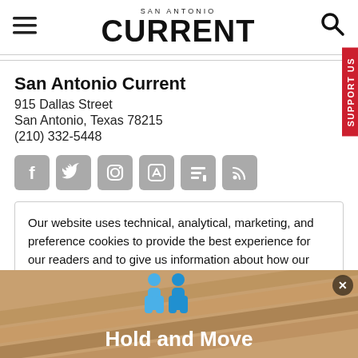SAN ANTONIO CURRENT
San Antonio Current
915 Dallas Street
San Antonio, Texas 78215
(210) 332-5448
[Figure (other): Row of social media icons: Facebook, Twitter, Instagram, Apple News, Google News, RSS]
Our website uses technical, analytical, marketing, and preference cookies to provide the best experience for our readers and to give us information about how our site is used. You may request that your data not be shared with
[Figure (infographic): Advertisement banner with two blue figures and text 'Hold and Move' on a brown/tan background]